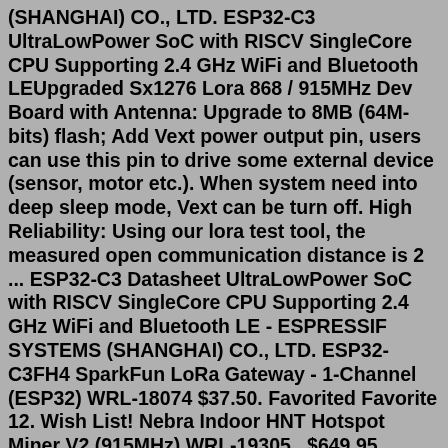(SHANGHAI) CO., LTD. ESP32-C3 UltraLowPower SoC with RISCV SingleCore CPU Supporting 2.4 GHz WiFi and Bluetooth LEUpgraded Sx1276 Lora 868 / 915MHz Dev Board with Antenna: Upgrade to 8MB (64M-bits) flash; Add Vext power output pin, users can use this pin to drive some external device (sensor, motor etc.). When system need into deep sleep mode, Vext can be turn off. High Reliability: Using our lora test tool, the measured open communication distance is 2 ... ESP32-C3 Datasheet UltraLowPower SoC with RISCV SingleCore CPU Supporting 2.4 GHz WiFi and Bluetooth LE - ESPRESSIF SYSTEMS (SHANGHAI) CO., LTD. ESP32-C3FH4 SparkFun LoRa Gateway - 1-Channel (ESP32) WRL-18074 $37.50. Favorited Favorite 12. Wish List! Nebra Indoor HNT Hotspot Miner V2 (915MHz) WRL-19305 . $649.95 $499.95. 11. Favorited Favorite 2 ... LoRa Fiberglass Antenna Type N - 5.8dBi (902-928MHz) WRL-15597Heltec WiFi LoRa 32 V2 is an ESP32 development board with 8 MB Flash that uses